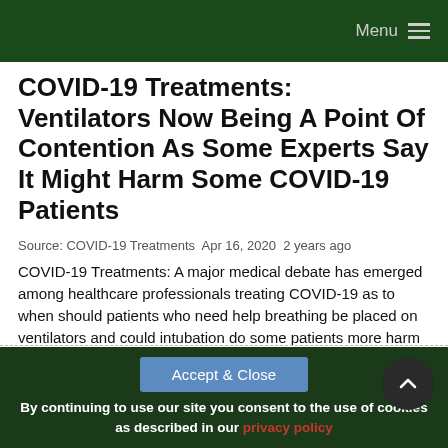Menu
COVID-19 Treatments: Ventilators Now Being A Point Of Contention As Some Experts Say It Might Harm Some COVID-19 Patients
Source: COVID-19 Treatments  Apr 16, 2020  2 years ago
COVID-19 Treatments: A major medical debate has emerged among healthcare professionals treating COVID-19 as to when should patients who need help breathing be placed on ventilators and could intubation do some patients more harm than good? Currently it has emerged as one of the biggest medical dilemma. Supporting research studies and data is scarce and there aren't yet formal studies on th...
Read More
By continuing to use our site you consent to the use of cookies as described in our privacy policy